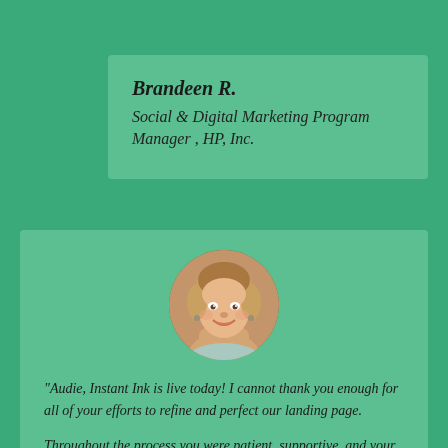Brandeen R.
Social & Digital Marketing Program Manager , HP, Inc.
[Figure (photo): Circular profile photo of a smiling woman with short blonde/auburn hair]
"Audie, Instant Ink is live today! I cannot thank you enough for all of your efforts to refine and perfect our landing page.
Throughout the process you were patient, supportive, and your attention to detail was over the top. Thanks for being an